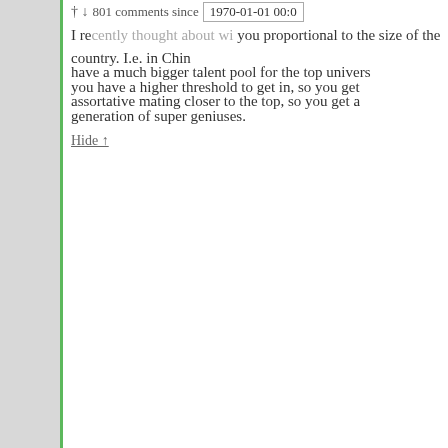† ↓ 801 comments since [1970-01-01 00:0] I re[cently thought about wh...you...] proportional to the size of the country. I.e. in Chin[a] have a much bigger talent pool for the top univers[ities,] you have a higher threshold to get in, so you get [more] assortative mating closer to the top, so you get a [next] generation of super geniuses.
Hide ↑
DavidFriedman says: February 4, 2019 at 1:16 pm ~new~
There must be rapidly diminishing returns to looking farther for a better fit in terms of IQ, etc. So I'm somewhat sceptical.
I'm not sure. If all you were looking for